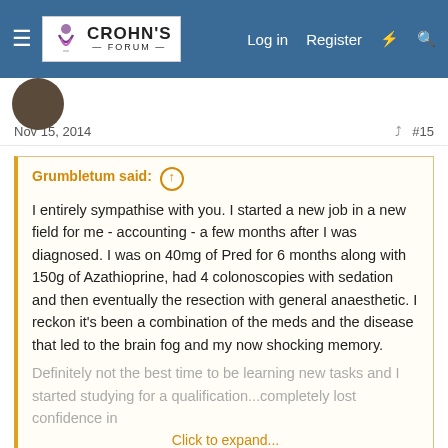[Figure (screenshot): Crohn's Forum website header with logo, navigation links: Log in, Register, and icons]
Nov 15, 2014   #15
Grumbletum said: ↑
I entirely sympathise with you. I started a new job in a new field for me - accounting - a few months after I was diagnosed. I was on 40mg of Pred for 6 months along with 150g of Azathioprine, had 4 colonoscopies with sedation and then eventually the resection with general anaesthetic. I reckon it's been a combination of the meds and the disease that led to the brain fog and my now shocking memory. Definitely not the best time to be learning new tasks and I started studying for a qualification...completely lost confidence in
Click to expand...
I'm sorry to hear that and hope that things work out for you.
dontmesswithmrwest